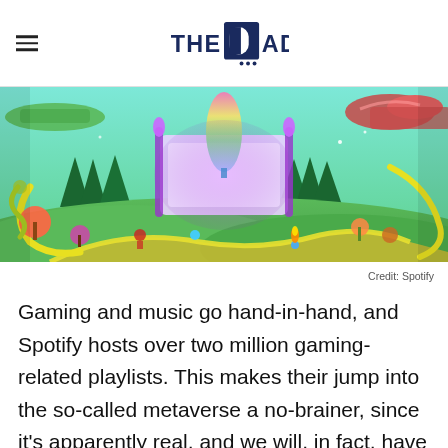THE DAD
[Figure (illustration): A colorful, vibrant metaverse-style 3D virtual world with green rolling hills, glowing neon paths, mushrooms, flowers, trees, and a large glowing stage/screen in the background with rainbow light effects. The scene resembles a gaming environment with low-poly aesthetic.]
Credit: Spotify
Gaming and music go hand-in-hand, and Spotify hosts over two million gaming-related playlists. This makes their jump into the so-called metaverse a no-brainer, since it's apparently real, and we will, in fact, have to deal with it. But when Spotify invited The Dad to take